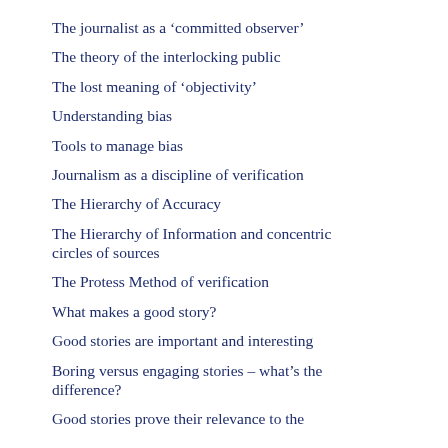The journalist as a ‘committed observer’
The theory of the interlocking public
The lost meaning of ‘objectivity’
Understanding bias
Tools to manage bias
Journalism as a discipline of verification
The Hierarchy of Accuracy
The Hierarchy of Information and concentric circles of sources
The Protess Method of verification
What makes a good story?
Good stories are important and interesting
Boring versus engaging stories – what’s the difference?
Good stories prove their relevance to the